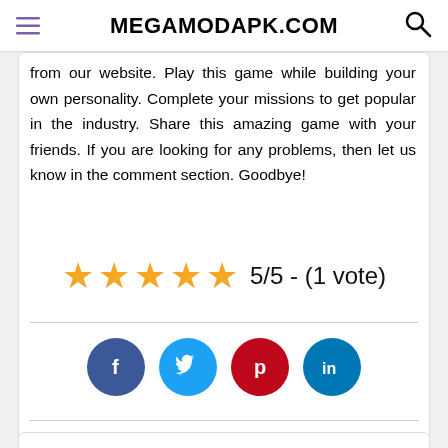MEGAMODAPK.COM
from our website. Play this game while building your own personality. Complete your missions to get popular in the industry. Share this amazing game with your friends. If you are looking for any problems, then let us know in the comment section. Goodbye!
[Figure (infographic): 5 gold star rating icons followed by text '5/5 - (1 vote)']
[Figure (infographic): Social media share buttons: Facebook (dark blue circle with f), Twitter (light blue circle with bird), Pinterest (red circle with P), LinkedIn (teal circle with in)]
Recommended MOD APKs